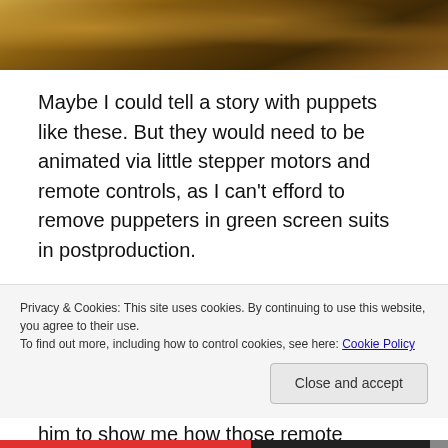[Figure (photo): Top portion of an image showing puppets or fantasy creatures with warm brown and orange tones, partially cropped at the top of the page.]
Maybe I could tell a story with puppets like these. But they would need to be animated via little stepper motors and remote controls, as I can’t efford to remove puppeters in green screen suits in postproduction.
Everything would have to be done in camera.
So I met Ben, one of my indie filmmaking friends who is a tech wizard and asked him to show me how those remote
Privacy & Cookies: This site uses cookies. By continuing to use this website, you agree to their use.
To find out more, including how to control cookies, see here: Cookie Policy
Close and accept